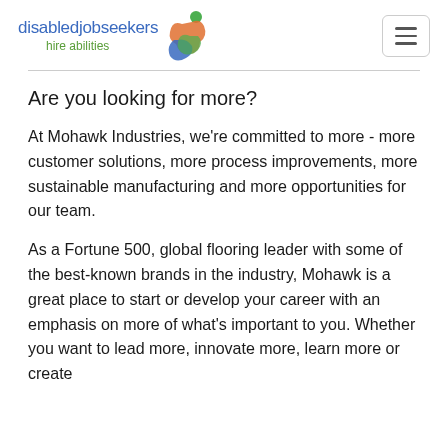disabledjobseekers hire abilities
Are you looking for more?
At Mohawk Industries, we're committed to more - more customer solutions, more process improvements, more sustainable manufacturing and more opportunities for our team.
As a Fortune 500, global flooring leader with some of the best-known brands in the industry, Mohawk is a great place to start or develop your career with an emphasis on more of what's important to you. Whether you want to lead more, innovate more, learn more or create